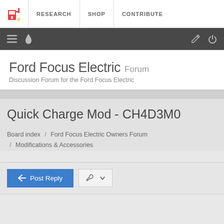RESEARCH | SHOP | CONTRIBUTE
Ford Focus Electric Forum
Discussion Forum for the Ford Focus Electric
Quick Charge Mod - CH4D3M0
Board index / Ford Focus Electric Owners Forum / Modifications & Accessories
Post Reply